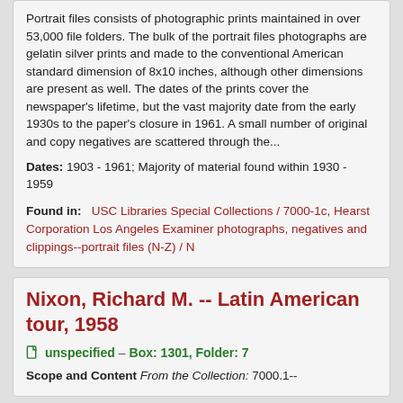Portrait files consists of photographic prints maintained in over 53,000 file folders. The bulk of the portrait files photographs are gelatin silver prints and made to the conventional American standard dimension of 8x10 inches, although other dimensions are present as well. The dates of the prints cover the newspaper's lifetime, but the vast majority date from the early 1930s to the paper's closure in 1961. A small number of original and copy negatives are scattered through the...
Dates: 1903 - 1961; Majority of material found within 1930 - 1959
Found in: USC Libraries Special Collections / 7000-1c, Hearst Corporation Los Angeles Examiner photographs, negatives and clippings--portrait files (N-Z) / N
Nixon, Richard M. -- Latin American tour, 1958
unspecified — Box: 1301, Folder: 7
Scope and Content From the Collection: 7000.1--